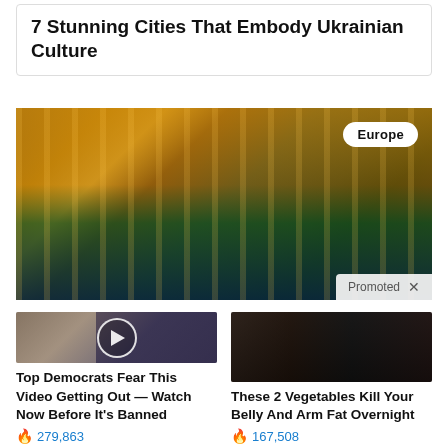7 Stunning Cities That Embody Ukrainian Culture
[Figure (photo): Illuminated European building facade at night with fountain reflection, badge reading 'Europe' in top-right corner, and 'Promoted X' bar at bottom-right]
[Figure (photo): Thumbnail showing two people with video play button overlay]
Top Democrats Fear This Video Getting Out — Watch Now Before It's Banned
279,863
[Figure (photo): Thumbnail showing before/after backs of two women]
These 2 Vegetables Kill Your Belly And Arm Fat Overnight
167,508